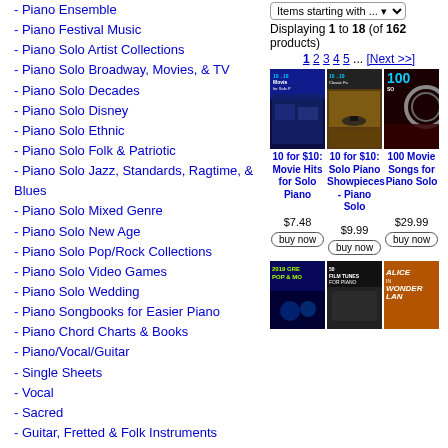- Piano Ensemble
- Piano Festival Music
- Piano Solo Artist Collections
- Piano Solo Broadway, Movies, & TV
- Piano Solo Decades
- Piano Solo Disney
- Piano Solo Ethnic
- Piano Solo Folk & Patriotic
- Piano Solo Jazz, Standards, Ragtime, & Blues
- Piano Solo Mixed Genre
- Piano Solo New Age
- Piano Solo Pop/Rock Collections
- Piano Solo Video Games
- Piano Solo Wedding
- Piano Songbooks for Easier Piano
- Piano Chord Charts & Books
- Piano/Vocal/Guitar
- Single Sheets
- Vocal
- Sacred
- Guitar, Fretted & Folk Instruments
- Strings
- Woodwinds
- Brass
- Drums & Percussion
- Mixed Instrument Duets & Ensembles
Items starting with ...
Displaying 1 to 18 (of 162 products)
1 2 3 4 5 ... [Next >>]
[Figure (photo): Three piano songbook covers: 10 for $10 Movie Hits for Solo Piano, 10 for $10 Solo Piano Showpieces - Piano Solo, 100 Movie Songs for Piano Solo]
10 for $10: Movie Hits for Solo Piano
10 for $10: Solo Piano Showpieces - Piano Solo
100 Movie Songs for Piano Solo
$7.48
$9.99
$29.99
[Figure (photo): Three more piano songbook covers: 2019 Greatest Pop & Mo..., 50 Film Tunes For Piano, Alice in Wonderland]